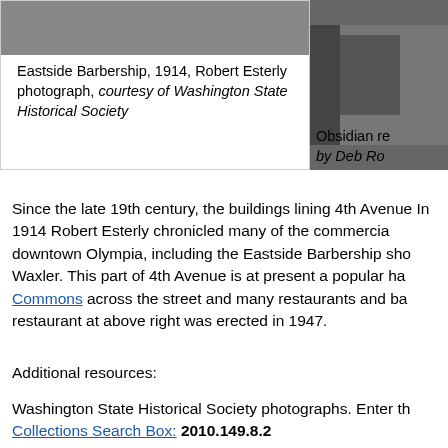[Figure (photo): Black and white photograph of Eastside Barbership, 1914, Robert Esterly photograph]
Eastside Barbership, 1914, Robert Esterly photograph, courtesy of Washington State Historical Society
[Figure (photo): Partial photograph of Obsidian restaurant, cropped at right edge]
Obsidian re... by Deb Ro...
Since the late 19th century, the buildings lining 4th Avenue... In 1914 Robert Esterly chronicled many of the commercia... downtown Olympia, including the Eastside Barbership sho... Waxler. This part of 4th Avenue is at present a popular ha... Commons across the street and many restaurants and ba... restaurant at above right was erected in 1947.
Additional resources:
Washington State Historical Society photographs. Enter th... Collections Search Box: 2010.149.8.2